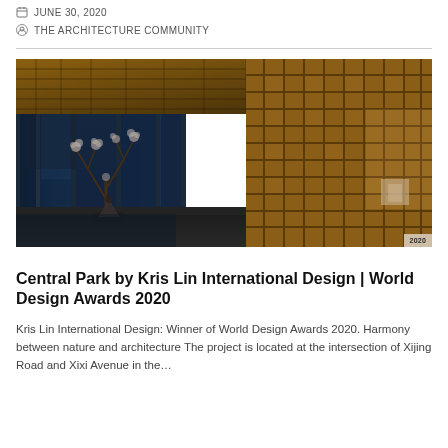JUNE 30, 2020
THE ARCHITECTURE COMMUNITY
[Figure (photo): Interior architectural photo of Central Park project showing a hallway with wooden lattice/grid wall panels on the right, floor-to-ceiling glass windows on the left revealing an outdoor courtyard with a blossoming tree, ornate wooden ceiling grid, and reflective dark floor surfaces. Warm amber lighting illuminates the wooden grid structure.]
Central Park by Kris Lin International Design | World Design Awards 2020
Kris Lin International Design: Winner of World Design Awards 2020. Harmony between nature and architecture The project is located at the intersection of Xijing Road and Xixi Avenue in the...